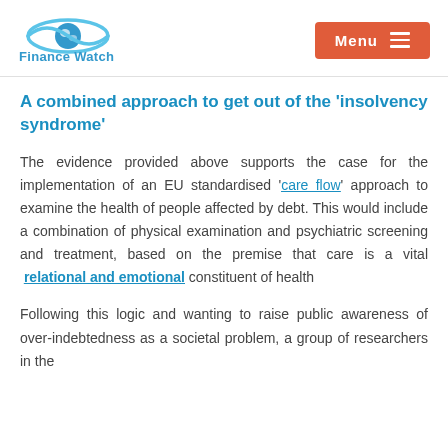[Figure (logo): Finance Watch logo with globe/eye icon in blue and the text 'Finance Watch' below it]
[Figure (other): Orange/red Menu button with hamburger icon on top right]
A combined approach to get out of the 'insolvency syndrome'
The evidence provided above supports the case for the implementation of an EU standardised 'care flow' approach to examine the health of people affected by debt. This would include a combination of physical examination and psychiatric screening and treatment, based on the premise that care is a vital relational and emotional constituent of health
Following this logic and wanting to raise public awareness of over-indebtedness as a societal problem, a group of researchers in the